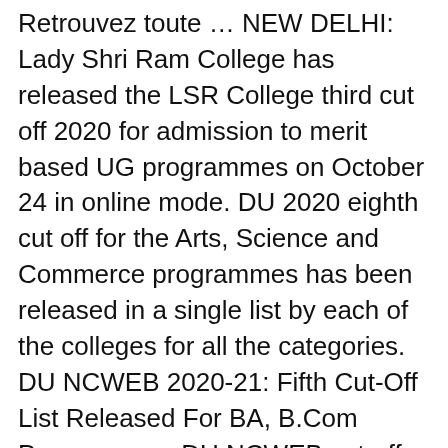Retrouvez toute … NEW DELHI: Lady Shri Ram College has released the LSR College third cut off 2020 for admission to merit based UG programmes on October 24 in online mode. DU 2020 eighth cut off for the Arts, Science and Commerce programmes has been released in a single list by each of the colleges for all the categories. DU NCWEB 2020-21: Fifth Cut-Off List Released For BA, B.Com Programmes, DU NCWEB cut-off list for B.Com Programme, Bigg Boss 14: Past Comes Back to Haunt Abhinav Shukla, ISL 2020-21: Kerala Blasters Coach Kibu Vicuna Satisfied with His Players But Stresses on Improving, There's a Limit, Says Urmila Matondkar on Her Husband Being Called 'Terrorist' and 'Pakistani', Dutch Prosecutors Confirm Donald Trump's Twitter Account Was Hacked. The DU second special cut off 2020 has been released on December 20 in online mode at the du DU Fifth Cut-Off 2020: The Delhi...